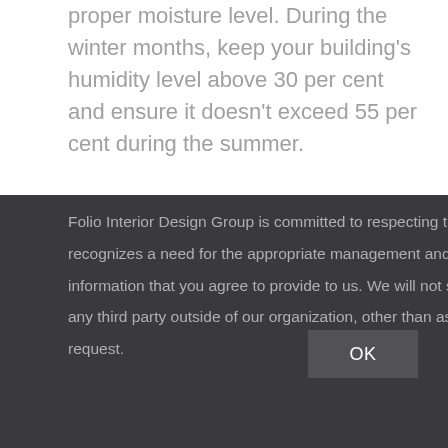Help avoid the formation of mould by maintaining the proper moisture level. During the winter months, keep your building's humidity level above 30 per cent and ensure it doesn't exceed 55 per cent during the summer.
Tips to control your building's humidity levels include
Folio Interior Design Group is committed to respecting the privacy of individuals and recognizes a need for the appropriate management and protection of any personal information that you agree to provide to us. We will not share your information with any third party outside of our organization, other than as necessary to fulfill your request.